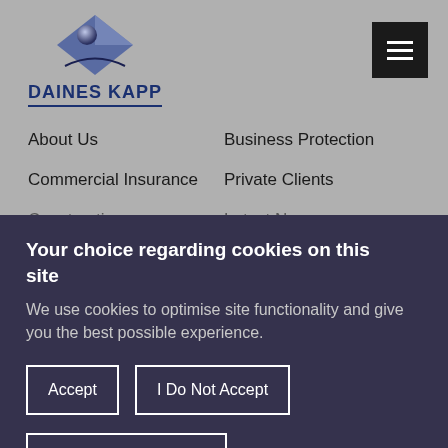[Figure (logo): Daines Kapp logo with blue diamond and globe graphic above the text DAINES KAPP in navy bold letters with underline]
About Us
Business Protection
Commercial Insurance
Private Clients
Construction
Latest News
Your choice regarding cookies on this site
We use cookies to optimise site functionality and give you the best possible experience.
Accept
I Do Not Accept
Cookie Preferences